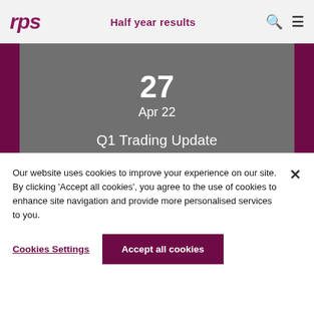rps  Half year results
27
Apr 22

Q1 Trading Update
LON:RPS
Our website uses cookies to improve your experience on our site. By clicking 'Accept all cookies', you agree to the use of cookies to enhance site navigation and provide more personalised services to you.
Cookies Settings   Accept all cookies